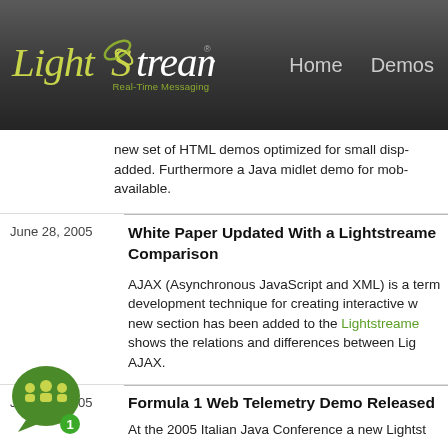LightStreamer Real-Time Messaging | Home | Demos
new set of HTML demos optimized for small displays was added. Furthermore a Java midlet demo for mobile is available.
White Paper Updated With a Lightstreamer vs AJAX Comparison
AJAX (Asynchronous JavaScript and XML) is a term and development technique for creating interactive web apps. A new section has been added to the Lightstreamer white paper that shows the relations and differences between Lightstreamer and AJAX.
Formula 1 Web Telemetry Demo Released
At the 2005 Italian Java Conference a new Lightst...
[Figure (illustration): Green chat/community widget icon with person silhouettes and a badge showing number 1]